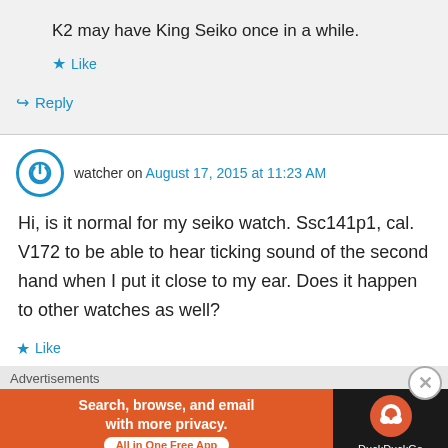K2 may have King Seiko once in a while.
Like
Reply
watcher on August 17, 2015 at 11:23 AM
Hi, is it normal for my seiko watch. Ssc141p1, cal. V172 to be able to hear ticking sound of the second hand when I put it close to my ear. Does it happen to other watches as well?
Like
Advertisements
[Figure (screenshot): DuckDuckGo advertisement banner: orange background with text 'Search, browse, and email with more privacy. All in One Free App' and DuckDuckGo logo on dark background.]